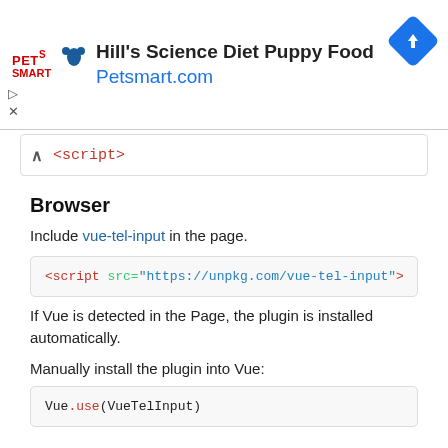[Figure (other): PetSmart advertisement banner for Hill's Science Diet Puppy Food showing PetSmart logo, text 'Hill's Science Diet Puppy Food' and 'Petsmart.com', and a blue diamond navigation icon]
<script>
Browser
Include vue-tel-input in the page.
<script src="https://unpkg.com/vue-tel-input">
If Vue is detected in the Page, the plugin is installed automatically.
Manually install the plugin into Vue:
Vue.use(VueTelInput)